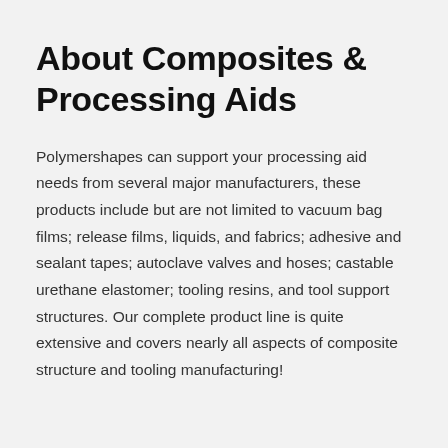About Composites & Processing Aids
Polymershapes can support your processing aid needs from several major manufacturers, these products include but are not limited to vacuum bag films; release films, liquids, and fabrics; adhesive and sealant tapes; autoclave valves and hoses; castable urethane elastomer; tooling resins, and tool support structures. Our complete product line is quite extensive and covers nearly all aspects of composite structure and tooling manufacturing!